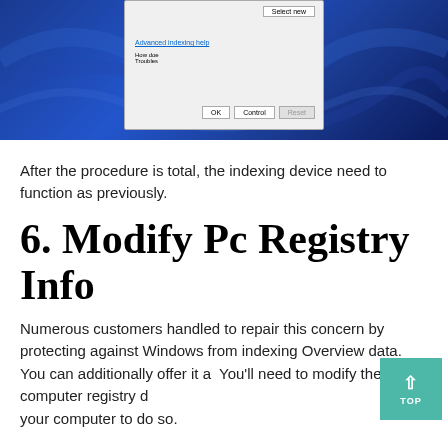[Figure (screenshot): Windows dialog box screenshot on a blue Windows 11 desktop background. Dialog shows fields with 'Select new' button, 'Advanced indexing help' link, 'How does indexing affect searches?' and 'Troubleshoot search and indexing' text, with OK, Control, and Reset buttons at the bottom.]
After the procedure is total, the indexing device need to function as previously.
6. Modify Pc Registry Info
Numerous customers handled to repair this concern by protecting against Windows from indexing Overview data. You can additionally offer it a try. You'll need to modify the computer registry data on your computer to do so.